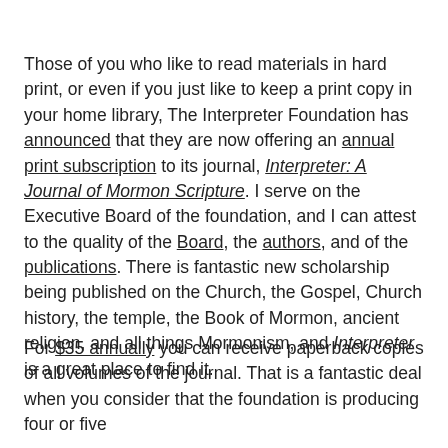Those of you who like to read materials in hard print, or even if you just like to keep a print copy in your home library, The Interpreter Foundation has announced that they are now offering an annual print subscription to its journal, Interpreter: A Journal of Mormon Scripture. I serve on the Executive Board of the foundation, and I can attest to the quality of the Board, the authors, and of the publications. There is fantastic new scholarship being published on the Church, the Gospel, Church history, the temple, the Book of Mormon, ancient religion, and all things Mormonism, and Interpreter is a great place to find it.
For $35 annually you can receive paperback copies of all volumes of the journal. That is a fantastic deal when you consider that the foundation is producing four or five